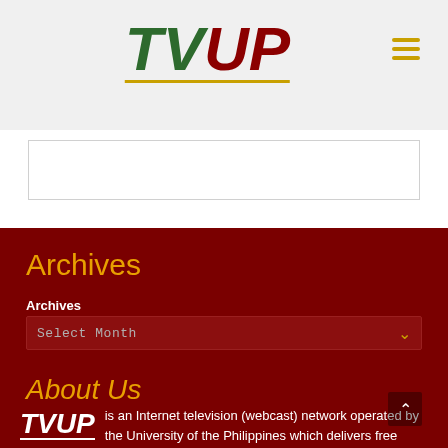[Figure (logo): TVUP logo with TV in green italic bold and UP in dark red italic bold, underlined in gold, on a light gray header bar]
[Figure (other): Hamburger menu icon (three gold horizontal lines) in top right of header]
[Figure (other): White content box below header]
Archives
Archives
Select Month
About Us
is an Internet television (webcast) network operated by the University of the Philippines which delivers free content for information and educational purposes.